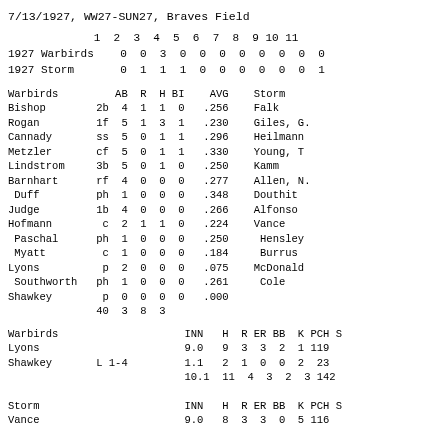7/13/1927, WW27-SUN27, Braves Field
|  | 1 | 2 | 3 | 4 | 5 | 6 | 7 | 8 | 9 | 10 | 11 |
| --- | --- | --- | --- | --- | --- | --- | --- | --- | --- | --- | --- |
| 1927 Warbirds | 0 | 0 | 3 | 0 | 0 | 0 | 0 | 0 | 0 | 0 | 0 |
| 1927 Storm | 0 | 1 | 1 | 1 | 0 | 0 | 0 | 0 | 0 | 0 | 1 |
| Warbirds |  | AB | R | H | BI | AVG | Storm |
| --- | --- | --- | --- | --- | --- | --- | --- |
| Bishop | 2b | 4 | 1 | 1 | 0 | .256 | Falk |
| Rogan | 1f | 5 | 1 | 3 | 1 | .230 | Giles, G. |
| Cannady | ss | 5 | 0 | 1 | 1 | .296 | Heilmann |
| Metzler | cf | 5 | 0 | 1 | 1 | .330 | Young, T |
| Lindstrom | 3b | 5 | 0 | 1 | 0 | .250 | Kamm |
| Barnhart | rf | 4 | 0 | 0 | 0 | .277 | Allen, N. |
|  Duff | ph | 1 | 0 | 0 | 0 | .348 | Douthit |
| Judge | 1b | 4 | 0 | 0 | 0 | .266 | Alfonso |
| Hofmann | c | 2 | 1 | 1 | 0 | .224 | Vance |
|  Paschal | ph | 1 | 0 | 0 | 0 | .250 |  Hensley |
|  Myatt | c | 1 | 0 | 0 | 0 | .184 |  Burrus |
| Lyons | p | 2 | 0 | 0 | 0 | .075 | McDonald |
|  Southworth | ph | 1 | 0 | 0 | 0 | .261 |  Cole |
| Shawkey | p | 0 | 0 | 0 | 0 | .000 |  |
|  |  | 40 | 3 | 8 | 3 |  |  |
| Warbirds |  |  |  |  | INN | H | R | ER | BB | K | PCH | S |
| --- | --- | --- | --- | --- | --- | --- | --- | --- | --- | --- | --- | --- |
| Lyons |  |  |  |  | 9.0 | 9 | 3 | 3 | 2 | 1 | 119 |  |
| Shawkey | L 1-4 |  |  |  | 1.1 | 2 | 1 | 0 | 0 | 2 | 23 |  |
|  |  |  |  |  | 10.1 | 11 | 4 | 3 | 2 | 3 | 142 |  |
| Storm |  |  |  |  | INN | H | R | ER | BB | K | PCH | S |
| --- | --- | --- | --- | --- | --- | --- | --- | --- | --- | --- | --- | --- |
| Vance |  |  |  |  | 9.0 | 8 | 3 | 3 | 0 | 5 | 116 |  |